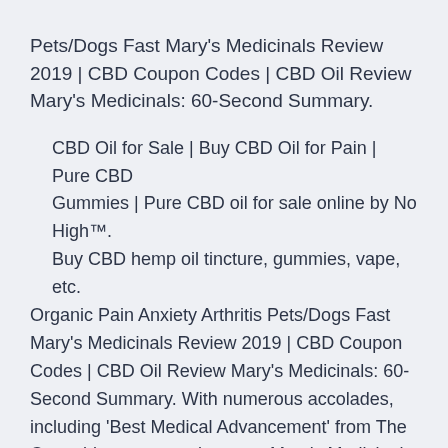Pets/Dogs Fast Mary's Medicinals Review 2019 | CBD Coupon Codes | CBD Oil Review Mary's Medicinals: 60-Second Summary.
CBD Oil for Sale | Buy CBD Oil for Pain | Pure CBD Gummies | Pure CBD oil for sale online by No High™. Buy CBD hemp oil tincture, gummies, vape, etc. Organic Pain Anxiety Arthritis Pets/Dogs Fast Mary's Medicinals Review 2019 | CBD Coupon Codes | CBD Oil Review Mary's Medicinals: 60-Second Summary. With numerous accolades, including 'Best Medical Advancement' from The Cannabist two years in a row, Mary's Medicinals is pioneering a more natural way out of opioid addiction with their potent transdermal cannabinoid patches. Medical Mary CBD - Posts | Facebook Medical Mary CBD. 765 likes · 14 talking